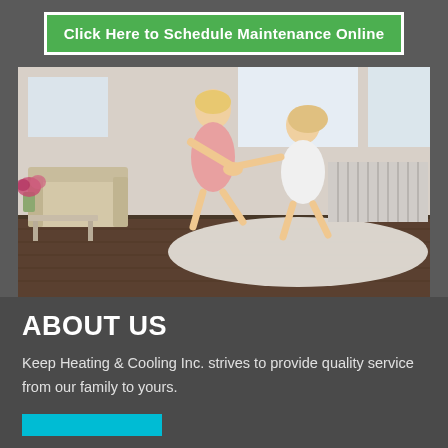Click Here to Schedule Maintenance Online
[Figure (photo): Two young girls dancing and playing together in a bright living room with hardwood floors, a white radiator, sofa, and flowers in the background.]
ABOUT US
Keep Heating & Cooling Inc. strives to provide quality service from our family to yours.